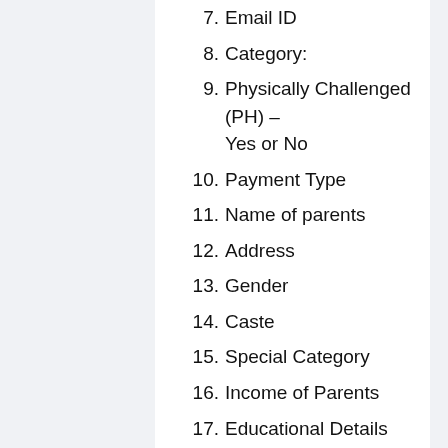7. Email ID
8. Category:
9. Physically Challenged (PH) – Yes or No
10. Payment Type
11. Name of parents
12. Address
13. Gender
14. Caste
15. Special Category
16. Income of Parents
17. Educational Details
18. Minority status
19. Local Status
TSEDCET 2022 Exam Center
The candidates can choose the regional center from where they